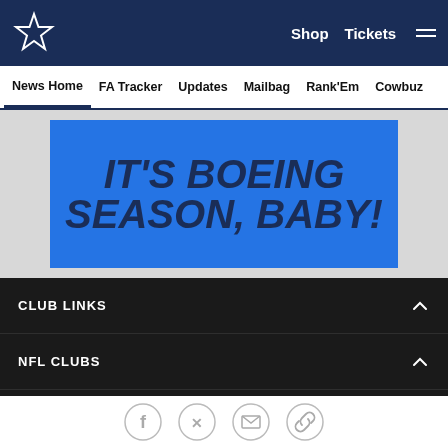Shop  Tickets  (menu)
News Home  FA Tracker  Updates  Mailbag  Rank'Em  Cowbuz
[Figure (photo): Blue banner with bold dark navy text reading 'IT'S BOEING SEASON, BABY!' on a light gray background]
CLUB LINKS
NFL CLUBS
MORE NFL SITES
Download apps
[Figure (logo): Download on the App Store button]
[Figure (logo): Get it on Google Play button]
[Figure (infographic): Social share icons: Facebook, Twitter, Email, Link]